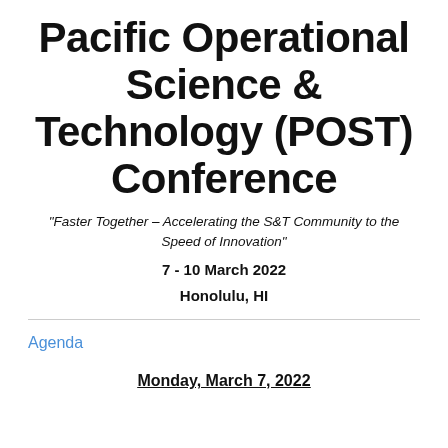Pacific Operational Science & Technology (POST) Conference
"Faster Together – Accelerating the S&T Community to the Speed of Innovation"
7 - 10 March 2022
Honolulu, HI
Agenda
Monday, March 7, 2022